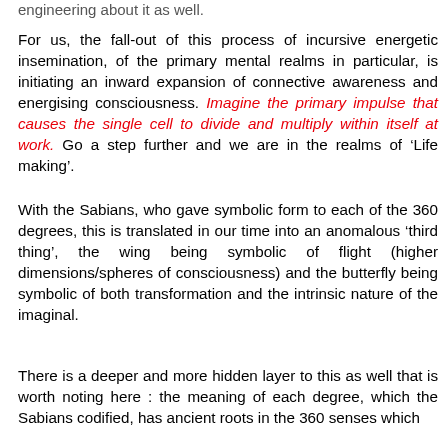engineering about it as well.
For us, the fall-out of this process of incursive energetic insemination, of the primary mental realms in particular, is initiating an inward expansion of connective awareness and energising consciousness. Imagine the primary impulse that causes the single cell to divide and multiply within itself at work. Go a step further and we are in the realms of ‘Life making’.
With the Sabians, who gave symbolic form to each of the 360 degrees, this is translated in our time into an anomalous ‘third thing’, the wing being symbolic of flight (higher dimensions/spheres of consciousness) and the butterfly being symbolic of both transformation and the intrinsic nature of the imaginal.
There is a deeper and more hidden layer to this as well that is worth noting here : the meaning of each degree, which the Sabians codified, has ancient roots in the 360 senses which